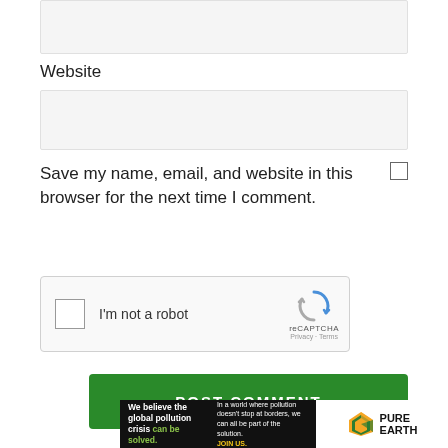[Figure (screenshot): Input field (top, partially visible, gray background)]
Website
[Figure (screenshot): Website input text field (gray background)]
Save my name, email, and website in this browser for the next time I comment.
[Figure (screenshot): reCAPTCHA widget with checkbox 'I'm not a robot' and reCAPTCHA logo with Privacy - Terms]
[Figure (screenshot): POST COMMENT green button]
[Figure (screenshot): Pure Earth advertisement banner: 'We believe the global pollution crisis can be solved.' with logo]